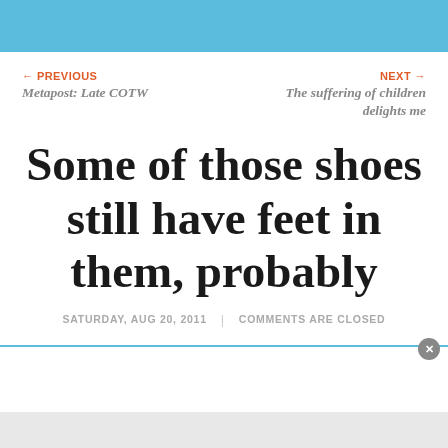← PREVIOUS
Metapost: Late COTW
NEXT →
The suffering of children delights me
Some of those shoes still have feet in them, probably
SATURDAY, AUG 20, 2011 | COMMENTS ARE CLOSED